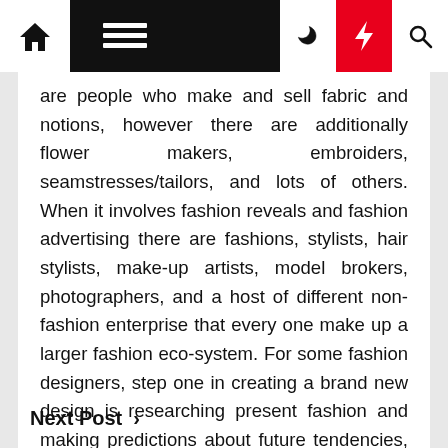[Navigation bar with home, menu, dark mode, lightning, search icons]
are people who make and sell fabric and notions, however there are additionally flower makers, embroiders, seamstresses/tailors, and lots of others. When it involves fashion reveals and fashion advertising there are fashions, stylists, hair stylists, make-up artists, model brokers, photographers, and a host of different non-fashion enterprise that every one make up a larger fashion eco-system. For some fashion designers, step one in creating a brand new design is researching present fashion and making predictions about future tendencies, similar to by reading reports revealed by fashion business commerce groups.
Next Post >